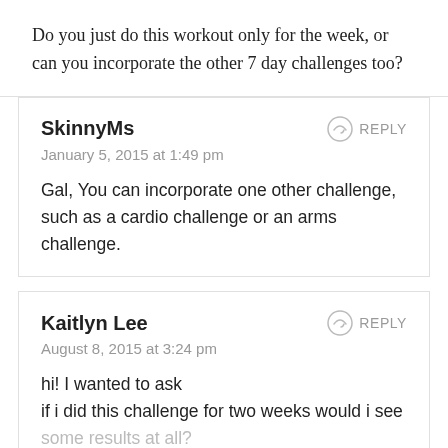Do you just do this workout only for the week, or can you incorporate the other 7 day challenges too?
SkinnyMs
January 5, 2015 at 1:49 pm
Gal, You can incorporate one other challenge, such as a cardio challenge or an arms challenge.
Kaitlyn Lee
August 8, 2015 at 3:24 pm
hi! I wanted to ask
if i did this challenge for two weeks would i see some results at all?
i will also be cleansing during this time